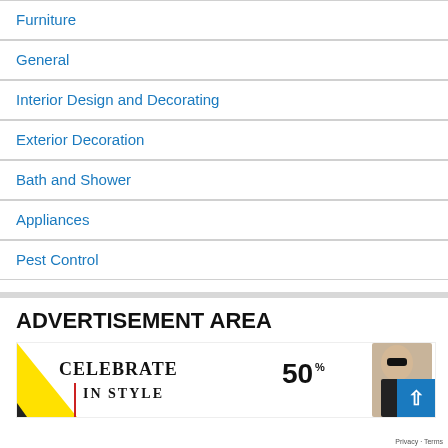Furniture
General
Interior Design and Decorating
Exterior Decoration
Bath and Shower
Appliances
Pest Control
ADVERTISEMENT AREA
[Figure (illustration): Advertisement banner showing 'CELEBRATE IN STYLE 50%' with a fashion model wearing sunglasses and a yellow triangle graphic element]